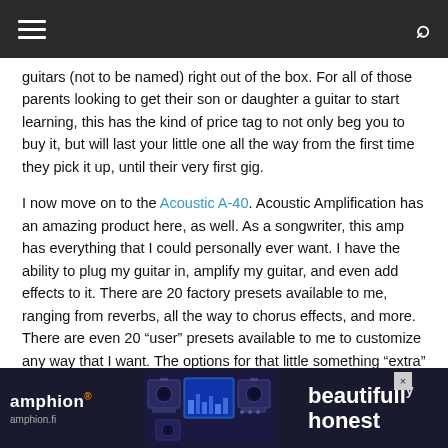Navigation bar with hamburger menu and search icon
guitars (not to be named) right out of the box. For all of those parents looking to get their son or daughter a guitar to start learning, this has the kind of price tag to not only beg you to buy it, but will last your little one all the way from the first time they pick it up, until their very first gig.
I now move on to the Acoustic A-40. Acoustic Amplification has an amazing product here, as well. As a songwriter, this amp has everything that I could personally ever want. I have the ability to plug my guitar in, amplify my guitar, and even add effects to it. There are 20 factory presets available to me, ranging from reverbs, all the way to chorus effects, and more. There are even 20 “user” presets available to me to customize any way that I want. The options for that little something “extra” in my tone are huge!
My favorite thing about this amp, though, is the ability to plug my microph... er thing that I re... apply to
[Figure (screenshot): Advertisement banner for Amphion with text 'beautifully honest' and speaker image, amphion.fi URL shown]